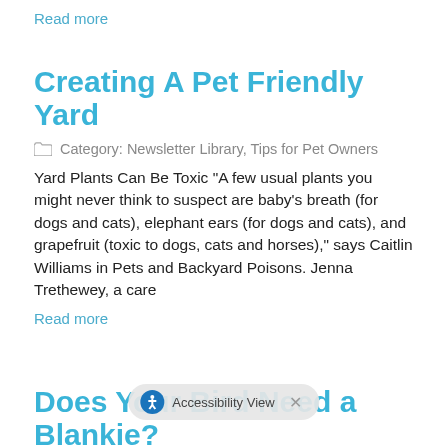Read more
Creating A Pet Friendly Yard
Category: Newsletter Library, Tips for Pet Owners
Yard Plants Can Be Toxic "A few usual plants you might never think to suspect are baby's breath (for dogs and cats), elephant ears (for dogs and cats), and grapefruit (toxic to dogs, cats and horses)," says Caitlin Williams in Pets and Backyard Poisons. Jenna Trethewey, a care
Read more
Does Your Bird Need a Blankie?
Category: Newsletter Library, Tips for Pet Owners
The answer to that is â€¦ it depends on the situation. Some birds prefer to remain uncovered during bedtime; where as other birds cannot sleep w blankets". On average, birds need abou sleep